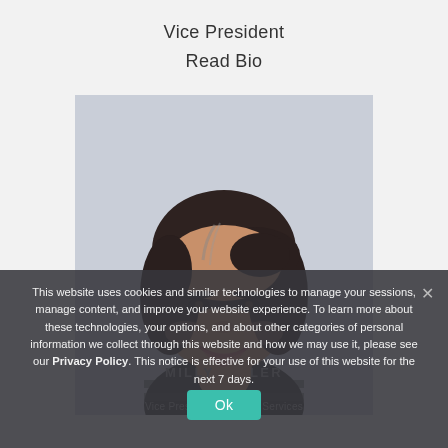Vice President
Read Bio
[Figure (photo): Headshot of a woman with dark shoulder-length hair, smiling, against a light grey background. She is wearing a dark striped top.]
This website uses cookies and similar technologies to manage your sessions, manage content, and improve your website experience. To learn more about these technologies, your options, and about other categories of personal information we collect through this website and how we may use it, please see our Privacy Policy. This notice is effective for your use of this website for the next 7 days.
MILLY LER
Ok